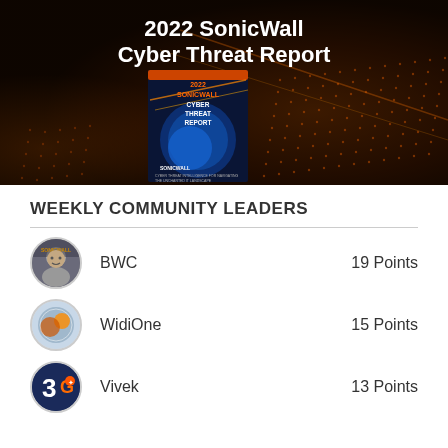[Figure (illustration): 2022 SonicWall Cyber Threat Report banner with dark orange/brown background showing abstract mesh pattern and a book cover of the report featuring a globe and energy streams]
2022 SonicWall
Cyber Threat Report
WEEKLY COMMUNITY LEADERS
BWC — 19 Points
WidiOne — 15 Points
Vivek — 13 Points